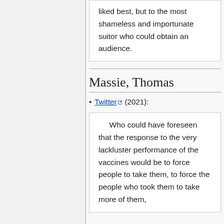liked best, but to the most shameless and importunate suitor who could obtain an audience.
Massie, Thomas
Twitter (2021):
Who could have foreseen that the response to the very lackluster performance of the vaccines would be to force people to take them, to force the people who took them to take more of them,